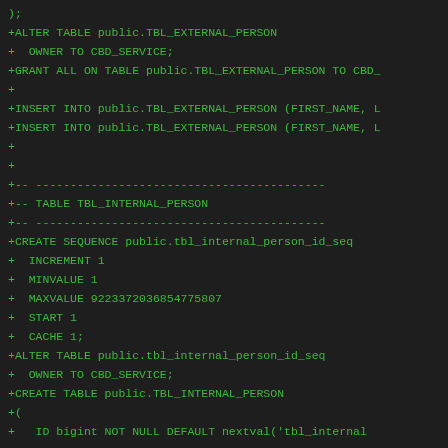);
+ALTER TABLE public.TBL_EXTERNAL_PERSON
+  OWNER TO CBD_SERVICE;
+GRANT ALL ON TABLE public.TBL_EXTERNAL_PERSON TO CBD_
+
+INSERT INTO public.TBL_EXTERNAL_PERSON (FIRST_NAME, L
+INSERT INTO public.TBL_EXTERNAL_PERSON (FIRST_NAME, L
+
+
+-- ------------------------------------------
+-- TABLE TBL_INTERNAL_PERSON
+-- ------------------------------------------
+CREATE SEQUENCE public.tbl_internal_person_id_seq
+  INCREMENT 1
+  MINVALUE 1
+  MAXVALUE 9223372036854775807
+  START 1
+  CACHE 1;
+ALTER TABLE public.tbl_internal_person_id_seq
+  OWNER TO CBD_SERVICE;
+CREATE TABLE public.TBL_INTERNAL_PERSON
+(
+   ID bigint NOT NULL DEFAULT nextval('tbl_internal